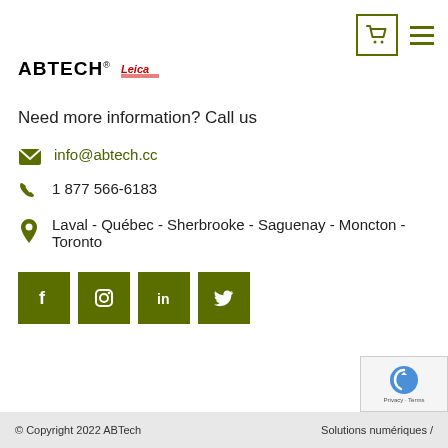[Figure (logo): ABTECH logo with Leica logo beside it]
Need more information? Call us
info@abtech.cc
1 877 566-6183
Laval - Québec - Sherbrooke - Saguenay - Moncton - Toronto
[Figure (infographic): Social media icons: Facebook, Instagram, LinkedIn, Twitter — all in dark olive green squares]
© Copyright 2022 ABTech    Solutions numériques /